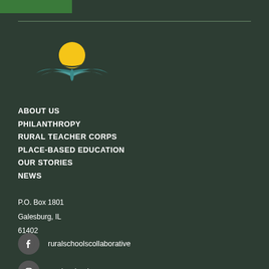[Figure (logo): Rural Schools Collaborative logo: yellow circle sun above teal leaf/wing shapes forming an open book or plant]
ABOUT US
PHILANTHROPY
RURAL TEACHER CORPS
PLACE-BASED EDUCATION
OUR STORIES
NEWS
P.O. Box 1801
Galesburg, IL
61402
ruralschoolscollaborative
rural_schools